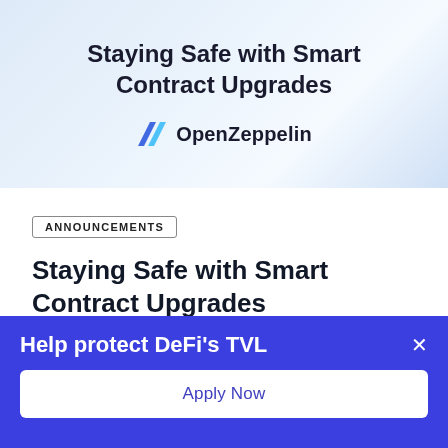[Figure (illustration): OpenZeppelin branded banner with light blue gradient background, showing title 'Staying Safe with Smart Contract Upgrades' and the OpenZeppelin logo (blue Z icon with text 'OpenZeppelin')]
ANNOUNCEMENTS
Staying Safe with Smart Contract Upgrades
READ MORE
Help protect DeFi's TVL
Apply Now